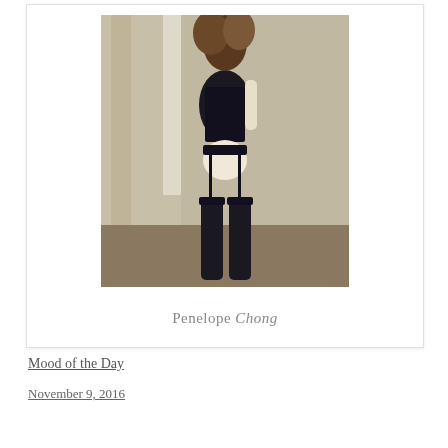[Figure (photo): A fashion/boudoir photograph showing a person viewed from behind wearing black lingerie with garter belt and stockings, standing near a curtained window with a sofa in the background. The image has a watermark 'Penelope Chong' at the bottom.]
Mood of the Day
November 9, 2016